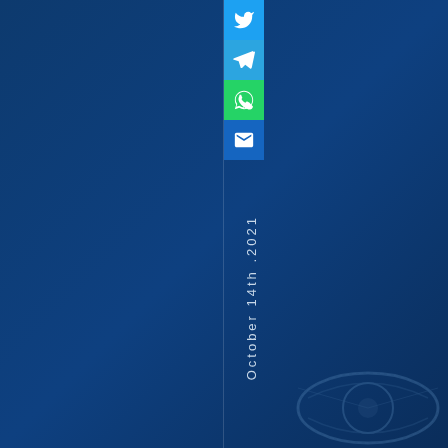[Figure (infographic): Dark blue background page with a vertical divider line at center, social media share icons (Twitter, Telegram, WhatsApp, Email) stacked vertically at top center, vertically oriented date text reading 'October 14th .2021' rotated 90 degrees, and a faint eye/face illustration in the bottom right corner.]
October 14th .2021